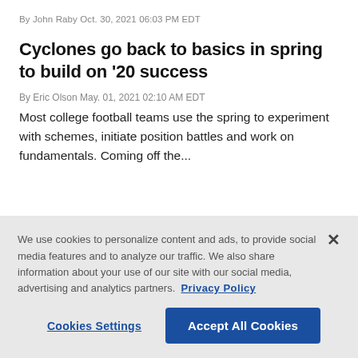By John Raby Oct. 30, 2021 06:03 PM EDT
Cyclones go back to basics in spring to build on '20 success
By Eric Olson May. 01, 2021 02:10 AM EDT
Most college football teams use the spring to experiment with schemes, initiate position battles and work on fundamentals. Coming off the...
We use cookies to personalize content and ads, to provide social media features and to analyze our traffic. We also share information about your use of our site with our social media, advertising and analytics partners. Privacy Policy
Cookies Settings
Accept All Cookies